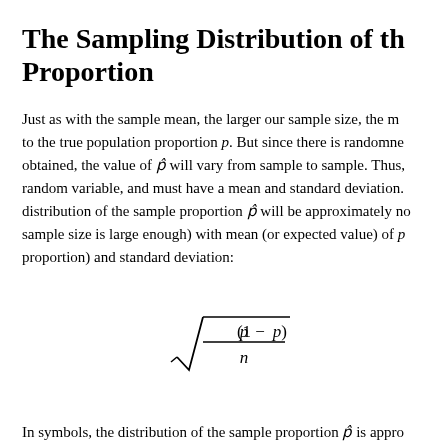The Sampling Distribution of the Proportion
Just as with the sample mean, the larger our sample size, the more our sample proportion will tend to be close to the true population proportion p. But since there is randomness in how a sample is obtained, the value of p-hat will vary from sample to sample. Thus, p-hat is a random variable, and must have a mean and standard deviation. The distribution of the sample proportion p-hat will be approximately normal (when the sample size is large enough) with mean (or expected value) of p (the population proportion) and standard deviation:
In symbols, the distribution of the sample proportion p-hat is approximately normal distribution